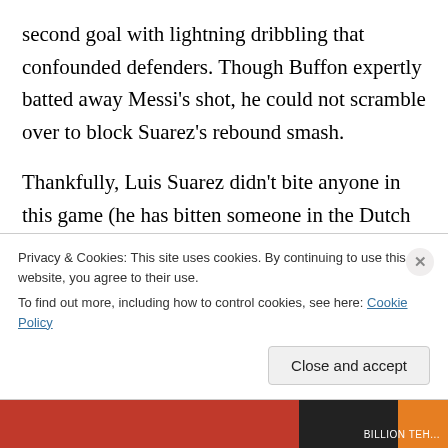second goal with lightning dribbling that confounded defenders. Though Buffon expertly batted away Messi's shot, he could not scramble over to block Suarez's rebound smash.
Thankfully, Luis Suarez didn't bite anyone in this game (he has bitten someone in the Dutch League, the English League and the World Cup). But he was up to his usual controversial antics. He faked injury to kill time. With mock pain, he writhed on the ground as the seconds counted down of the last minute of extra time. Then, he limped off
Privacy & Cookies: This site uses cookies. By continuing to use this website, you agree to their use.
To find out more, including how to control cookies, see here: Cookie Policy
Close and accept